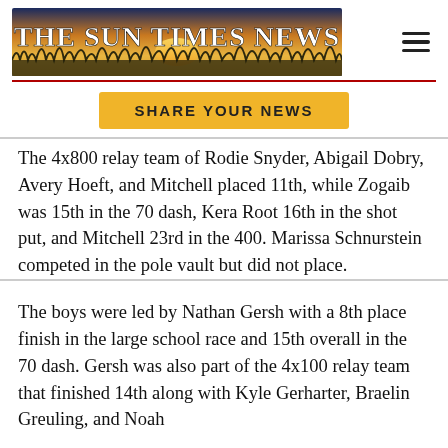[Figure (logo): The Sun Times News newspaper logo banner with nature background (sunset, grass silhouettes), with hamburger menu icon to the right]
[Figure (other): Yellow 'SHARE YOUR NEWS' button]
The 4x800 relay team of Rodie Snyder, Abigail Dobry, Avery Hoeft, and Mitchell placed 11th, while Zogaib was 15th in the 70 dash, Kera Root 16th in the shot put, and Mitchell 23rd in the 400. Marissa Schnurstein competed in the pole vault but did not place.
The boys were led by Nathan Gersh with a 8th place finish in the large school race and 15th overall in the 70 dash. Gersh was also part of the 4x100 relay team that finished 14th along with Kyle Gerharter, Braelin Greuling, and Noah [continues]